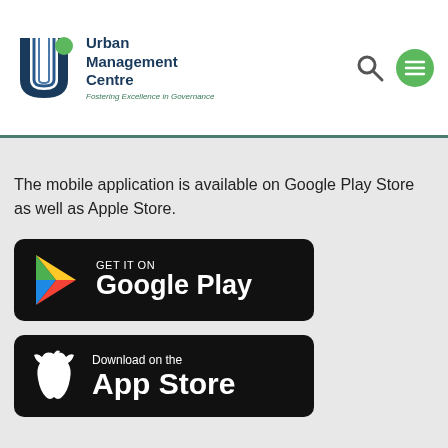[Figure (logo): Urban Management Centre logo with blue stylized UMC icon, text 'Urban Management Centre', tagline 'Fostering Excellence in Governance', search icon, and green hamburger menu icon]
The mobile application is available on Google Play Store as well as Apple Store.
[Figure (screenshot): GET IT ON Google Play store badge — black rounded rectangle button with Google Play triangle logo in red/green/yellow/blue and white text]
[Figure (screenshot): Download on the App Store badge — black rounded rectangle button with white Apple logo and white text]